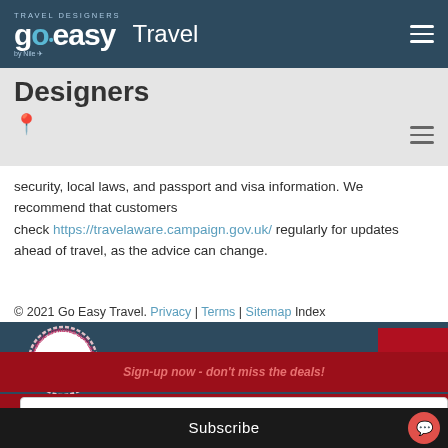go•easy Travel Designers
Designers
security, local laws, and passport and visa information. We recommend that customers check https://travelaware.campaign.gov.uk/ regularly for updates ahead of travel, as the advice can change.
© 2021 Go Easy Travel. Privacy | Terms | Sitemap Index
[Figure (logo): UKBride Approved Supplier circular badge/seal in pink and white]
Sign-up now - don't miss the deals!
Your email address..
Subscribe